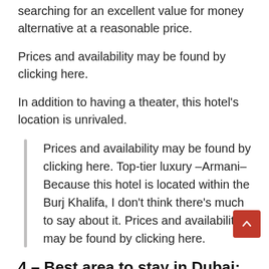searching for an excellent value for money alternative at a reasonable price.
Prices and availability may be found by clicking here.
In addition to having a theater, this hotel's location is unrivaled.
Prices and availability may be found by clicking here. Top-tier luxury –Armani– Because this hotel is located within the Burj Khalifa, I don't think there's much to say about it. Prices and availability may be found by clicking here.
4 – Best area to stay in Dubai: